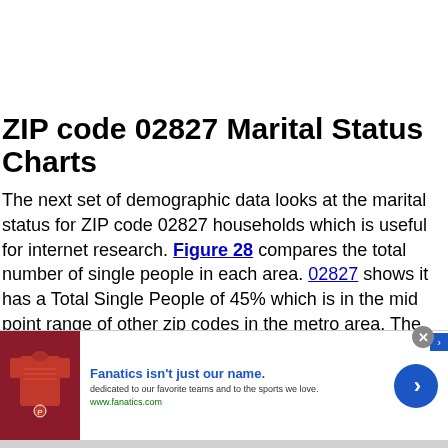ZIP code 02827 Marital Status Charts
The next set of demographic data looks at the marital status for ZIP code 02827 households which is useful for internet research. Figure 28 compares the total number of single people in each area. 02827 shows it has a Total Single People of 45% which is in the mid point range of other zip codes in the metro area. The zip code with the highest percent of people who are single for any reason in the area is 06373 which
[Figure (other): Advertisement banner for Fanatics.com showing a shirt image, 'Fanatics isn't just our name.' headline, 'dedicated to our favorite teams and to the sports we love.' subtext, www.fanatics.com URL, and a blue circular arrow button.]